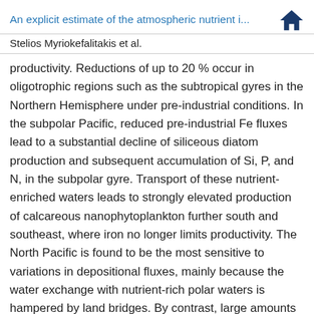An explicit estimate of the atmospheric nutrient i...
Stelios Myriokefalitakis et al.
productivity. Reductions of up to 20 % occur in oligotrophic regions such as the subtropical gyres in the Northern Hemisphere under pre-industrial conditions. In the subpolar Pacific, reduced pre-industrial Fe fluxes lead to a substantial decline of siliceous diatom production and subsequent accumulation of Si, P, and N, in the subpolar gyre. Transport of these nutrient-enriched waters leads to strongly elevated production of calcareous nanophytoplankton further south and southeast, where iron no longer limits productivity. The North Pacific is found to be the most sensitive to variations in depositional fluxes, mainly because the water exchange with nutrient-rich polar waters is hampered by land bridges. By contrast, large amounts of unutilized nutrients are advected equatorward in the Southern Ocean and North Atlantic, making these regions less sensitive to external nutrient inputs. Despite the lower aerosol N : P ratios with